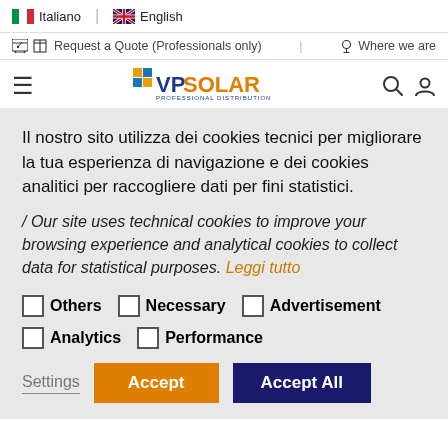🇮🇹 Italiano | 🇬🇧 English
🛒 Request a Quote (Professionals only) | 📍 Where we are
[Figure (logo): VP Solar Professional Distribution logo with hamburger menu, search and user icons]
Home > News > JinkoSolar recognized as Top Performer 2...
Il nostro sito utilizza dei cookies tecnici per migliorare la tua esperienza di navigazione e dei cookies analitici per raccogliere dati per fini statistici.
/ Our site uses technical cookies to improve your browsing experience and analytical cookies to collect data for statistical purposes. Leggi tutto
☐ Others  ☐ Necessary  ☐ Advertisement
☐ Analytics  ☐ Performance
Settings | Accept | Accept All